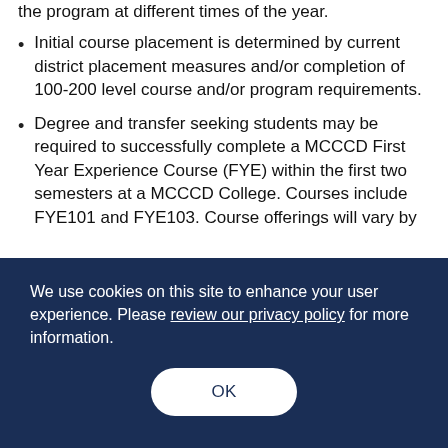the program at different times of the year.
Initial course placement is determined by current district placement measures and/or completion of 100-200 level course and/or program requirements.
Degree and transfer seeking students may be required to successfully complete a MCCCD First Year Experience Course (FYE) within the first two semesters at a MCCCD College. Courses include FYE101 and FYE103. Course offerings will vary by
We use cookies on this site to enhance your user experience. Please review our privacy policy for more information.
OK